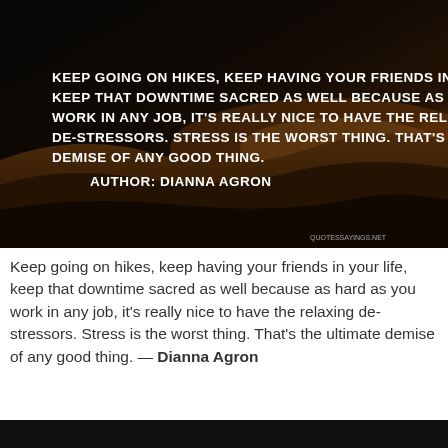[Figure (photo): Dark landscape photo (desert/sand dunes with dramatic sunset sky) overlaid with white uppercase text of a Dianna Agron quote. Text reads: KEEP GOING ON HIKES, KEEP HAVING YOUR FRIENDS IN YOUR LIFE, KEEP THAT DOWNTIME SACRED AS WELL BECAUSE AS HARD AS YOU WORK IN ANY JOB, IT'S REALLY NICE TO HAVE THE RELAXING DE-STRESSORS. STRESS IS THE WORST THING. THAT'S THE ULTIMATE DEMISE OF ANY GOOD THING. AUTHOR: DIANNA AGRON. Watermark: QUOTESSAYINGS.NET]
Keep going on hikes, keep having your friends in your life, keep that downtime sacred as well because as hard as you work in any job, it's really nice to have the relaxing de-stressors. Stress is the worst thing. That's the ultimate demise of any good thing. — Dianna Agron